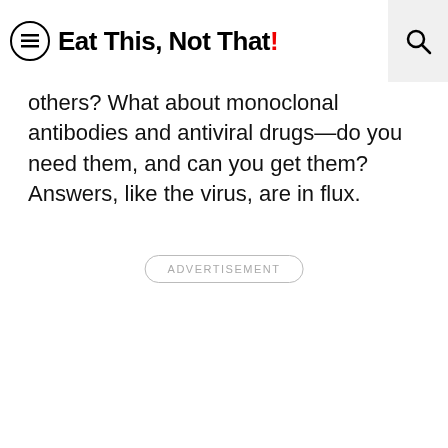Eat This, Not That!
others? What about monoclonal antibodies and antiviral drugs—do you need them, and can you get them? Answers, like the virus, are in flux.
ADVERTISEMENT